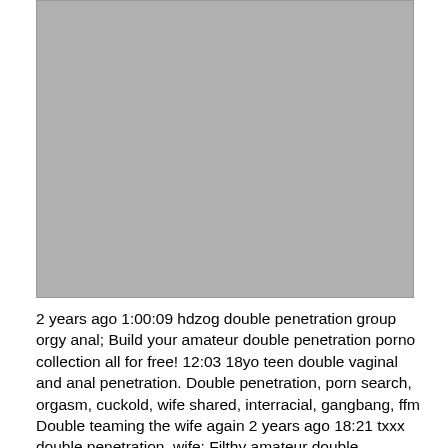[Figure (photo): Gray placeholder image occupying the upper portion of the page]
2 years ago 1:00:09 hdzog double penetration group orgy anal; Build your amateur double penetration porno collection all for free! 12:03 18yo teen double vaginal and anal penetration. Double penetration, porn search, orgasm, cuckold, wife shared, interracial, gangbang, ffm Double teaming the wife again 2 years ago 18:21 txxx double penetration, wife; Filthy amateur double penetration